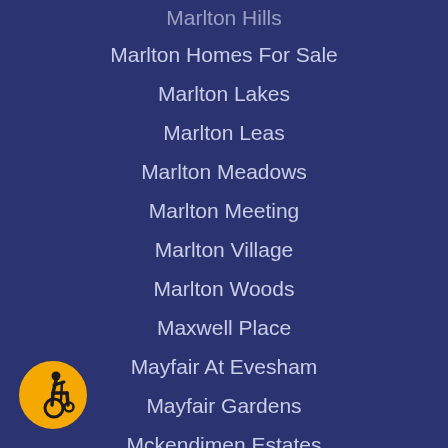Marlton Hills
Marlton Homes For Sale
Marlton Lakes
Marlton Leas
Marlton Meadows
Marlton Meeting
Marlton Village
Marlton Woods
Maxwell Place
Mayfair At Evesham
Mayfair Gardens
Mckendimen Estates
Meadow Run
Medford Chase
Medford Commons
Medford Homes For Sale
Medford Lakes
[Figure (illustration): Accessibility icon: yellow circle with black wheelchair user symbol]